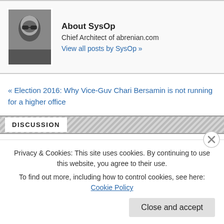[Figure (photo): Black and white photo of a person wearing sunglasses]
About SysOp
Chief Architect of abrenian.com
View all posts by SysOp »
« Election 2016: Why Vice-Guv Chari Bersamin is not running for a higher office
DISCUSSION
371 thoughts on "Election 2016: A return bout in Tayur
Privacy & Cookies: This site uses cookies. By continuing to use this website, you agree to their use.
To find out more, including how to control cookies, see here: Cookie Policy
Close and accept